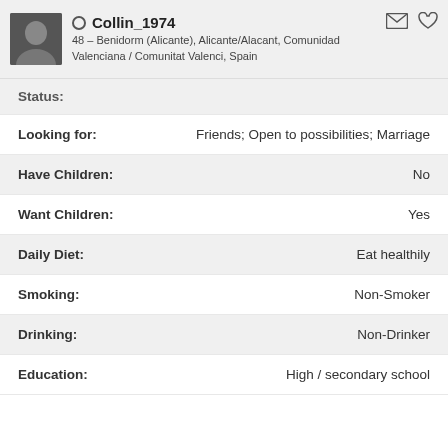Collin_1974 – 48 – Benidorm (Alicante), Alicante/Alacant, Comunidad Valenciana / Comunitat Valenci, Spain
Status:
Looking for: Friends; Open to possibilities; Marriage
Have Children: No
Want Children: Yes
Daily Diet: Eat healthily
Smoking: Non-Smoker
Drinking: Non-Drinker
Education: High / secondary school